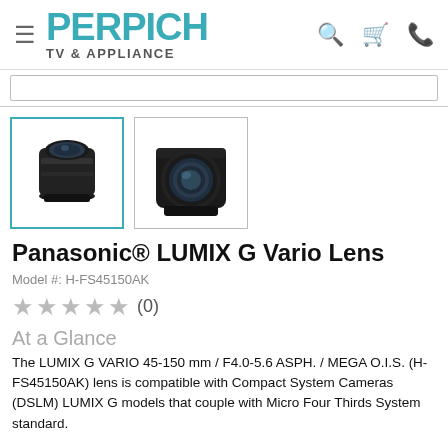PERPICH TV & APPLIANCE
[Figure (photo): Two product thumbnail photos of a Panasonic LUMIX G Vario camera lens, shown from different angles. The first (selected, teal border) shows the lens from the side. The second shows a front-facing view.]
Panasonic® LUMIX G Vario Lens
Model #: H-FS45150AK
★★★★★ (0)
At a Glance
The LUMIX G VARIO 45-150 mm / F4.0-5.6 ASPH. / MEGA O.I.S. (H-FS45150AK) lens is compatible with Compact System Cameras (DSLM) LUMIX G models that couple with Micro Four Thirds System standard.